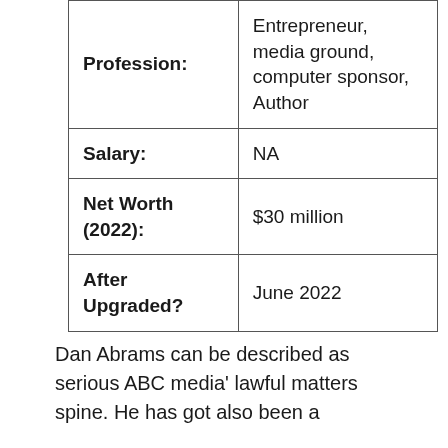| Field | Value |
| --- | --- |
| Profession: | Entrepreneur, media ground, computer sponsor, Author |
| Salary: | NA |
| Net Worth (2022): | $30 million |
| After Upgraded? | June 2022 |
Dan Abrams can be described as serious ABC media' lawful matters spine. He has got also been a